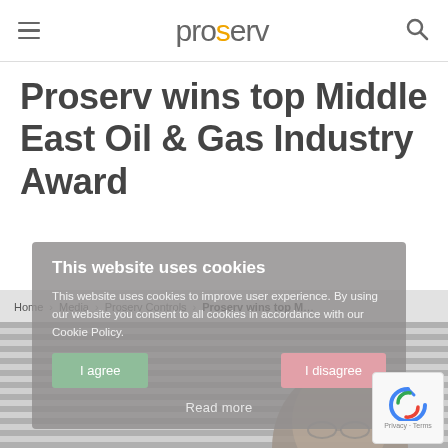proserv — navigation header with hamburger menu and search icon
Proserv wins top Middle East Oil & Gas Industry Award
[Figure (screenshot): Cookie consent overlay on Proserv website showing 'This website uses cookies' dialog with 'I agree' and 'I disagree' buttons and 'Read more' link]
Home > Media > Proserv Controls > Proserv wins top M…
[Figure (photo): Partial photo of a man's face visible behind the cookie consent overlay, with horizontal stripe background]
[Figure (other): reCAPTCHA badge in bottom right corner showing Privacy · Terms]